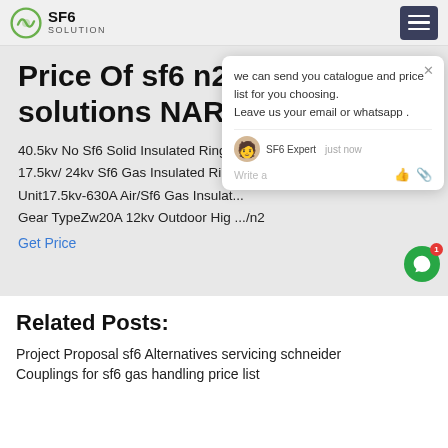SF6 SOLUTION
Price Of sf6 n2 solutions NARI Group
40.5kv No Sf6 Solid Insulated Ring ... v/ 17.5kv/ 24kv Sf6 Gas Insulated Ring ... Unit17.5kv-630A Air/Sf6 Gas Insulat... Gear TypeZw20A 12kv Outdoor Hig ... /n2
Get Price
[Figure (screenshot): Chat popup overlay with message: 'we can send you catalogue and price list for you choosing. Leave us your email or whatsapp .' with SF6 Expert avatar, 'just now' timestamp, and write/thumbs-up/attachment icons.]
Related Posts:
Project Proposal sf6 Alternatives servicing schneider
Couplings for sf6 gas handling price list